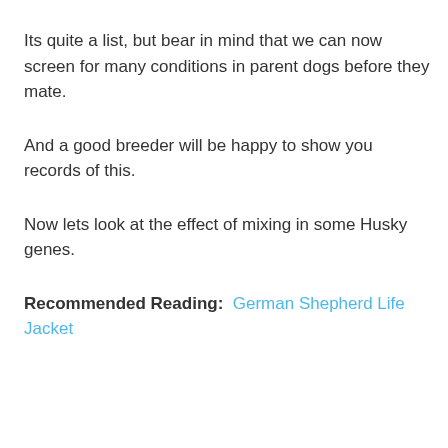Its quite a list, but bear in mind that we can now screen for many conditions in parent dogs before they mate.
And a good breeder will be happy to show you records of this.
Now lets look at the effect of mixing in some Husky genes.
Recommended Reading:  German Shepherd Life Jacket